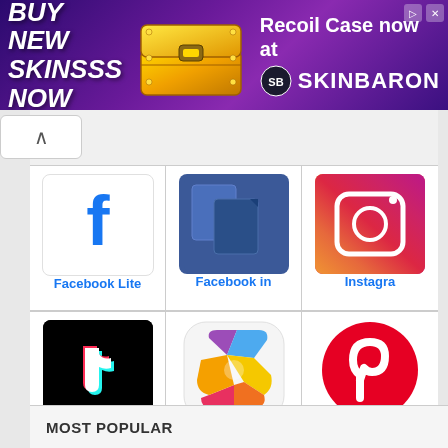[Figure (screenshot): Advertisement banner: 'BUY NEW SKINSSS NOW' with game chest image and SkinBaron branding on purple background]
[Figure (screenshot): Scrollable app grid showing Facebook Lite, Facebook in, Instagram (partially), TikTok in PC, ShareChat in, Pinterest (partially) app icons]
Facebook Lite
Facebook in
Instagra
TikTok in PC
ShareChat in
Pinterest
MOST POPULAR